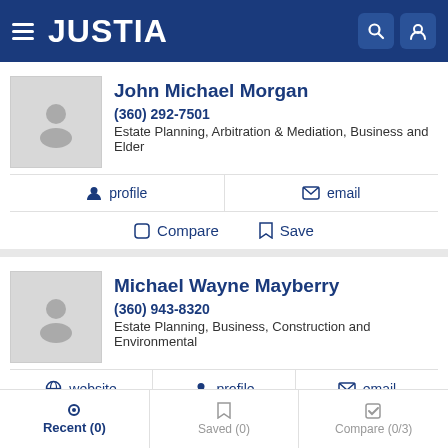[Figure (screenshot): Justia website header with hamburger menu, JUSTIA logo, search icon and user icon on dark blue background]
John Michael Morgan
(360) 292-7501
Estate Planning, Arbitration & Mediation, Business and Elder
profile   email
Compare   Save
Michael Wayne Mayberry
(360) 943-8320
Estate Planning, Business, Construction and Environmental
website   profile   email
Recent (0)   Saved (0)   Compare (0/3)